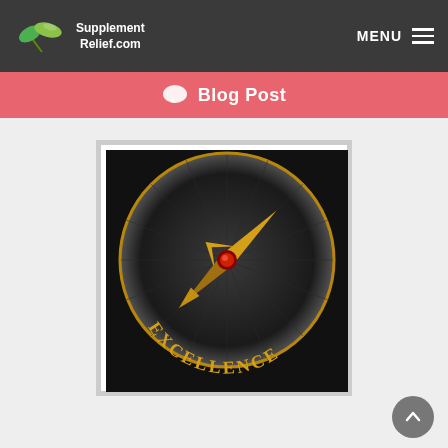Supplement Relief.com  MENU
Blog Post
[Figure (illustration): A compass with a golden needle pointing toward the word EXCELLENCE on a dark background]
Why Spend the Money for